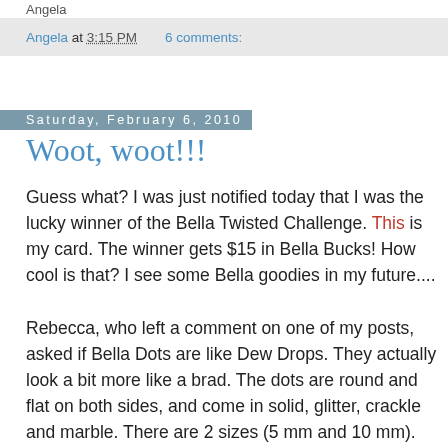Angela
Angela at 3:15 PM    6 comments:
Saturday, February 6, 2010
Woot, woot!!!
Guess what? I was just notified today that I was the lucky winner of the Bella Twisted Challenge. This is my card. The winner gets $15 in Bella Bucks! How cool is that? I see some Bella goodies in my future....
Rebecca, who left a comment on one of my posts, asked if Bella Dots are like Dew Drops. They actually look a bit more like a brad. The dots are round and flat on both sides, and come in solid, glitter, crackle and marble. There are 2 sizes (5 mm and 10 mm). They also come in mixes so you can sample more than 1 shade. I love them because they are easier to place and you have no prongs on the back. Have you ever lined up the holes for your brads perfectly and they appear off kilter? That sometimes happens to me.... With the